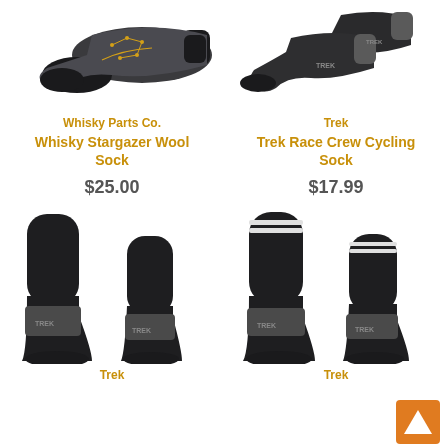[Figure (photo): Whisky Stargazer Wool Sock - dark charcoal low-cut ankle sock with gold constellation pattern]
Whisky Parts Co.
Whisky Stargazer Wool Sock
$25.00
[Figure (photo): Trek Race Crew Cycling Sock - black low-cut ankle sock with grey band, shown as pair]
Trek
Trek Race Crew Cycling Sock
$17.99
[Figure (photo): Trek black quarter crew cycling socks shown as pair with grey sole band]
Trek
[Figure (photo): Trek black crew cycling socks with white stripe at top, shown as pair with grey sole band]
Trek